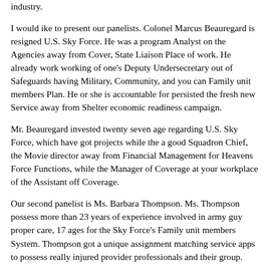industry.
I would ike to present our panelists. Colonel Marcus Beauregard is resigned U.S. Sky Force. He was a program Analyst on the Agencies away from Cover, State Liaison Place of work. He already work working of one's Deputy Undersecretary out of Safeguards having Military, Community, and you can Family unit members Plan. He or she is accountable for persisted the fresh new Service away from Shelter economic readiness campaign.
Mr. Beauregard invested twenty seven age regarding U.S. Sky Force, which have got projects while the a good Squadron Chief, the Movie director away from Financial Management for Heavens Force Functions, while the Manager of Coverage at your workplace of the Assistant off Coverage.
Our second panelist is Ms. Barbara Thompson. Ms. Thompson possess more than 23 years of experience involved in army guy proper care, 17 ages for the Sky Force's Family unit members System. Thompson got a unique assignment matching service apps to possess really injured provider professionals and their group.
The third panelist try Rear-admiral Jan Cody Gaudio. Mr. Gaudio — in fact, Rear-admiral Gaudio — 's the Executive Vice president and also the Head Working Manager off new Navy Aquatic Corps Interactions. Amalgam of initiative, develop...Relief Section for the